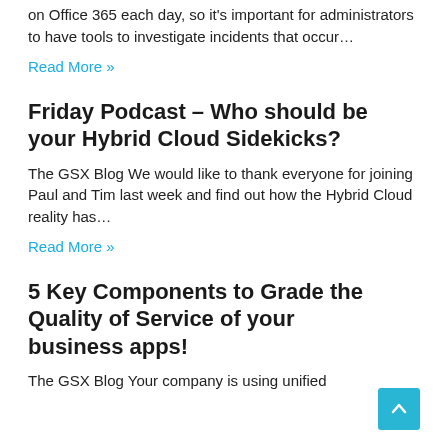on Office 365 each day, so it's important for administrators to have tools to investigate incidents that occur…
Read More »
Friday Podcast – Who should be your Hybrid Cloud Sidekicks?
The GSX Blog We would like to thank everyone for joining Paul and Tim last week and find out how the Hybrid Cloud reality has…
Read More »
5 Key Components to Grade the Quality of Service of your business apps!
The GSX Blog Your company is using unified